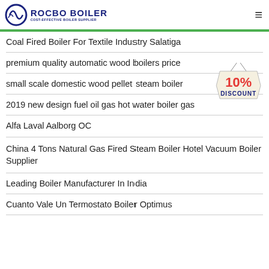ROCBO BOILER — COST-EFFECTIVE BOILER SUPPLIER
Coal Fired Boiler For Textile Industry Salatiga
premium quality automatic wood boilers price
small scale domestic wood pellet steam boiler
2019 new design fuel oil gas hot water boiler gas
Alfa Laval Aalborg OC
China 4 Tons Natural Gas Fired Steam Boiler Hotel Vacuum Boiler Supplier
Leading Boiler Manufacturer In India
Cuanto Vale Un Termostato Boiler Optimus